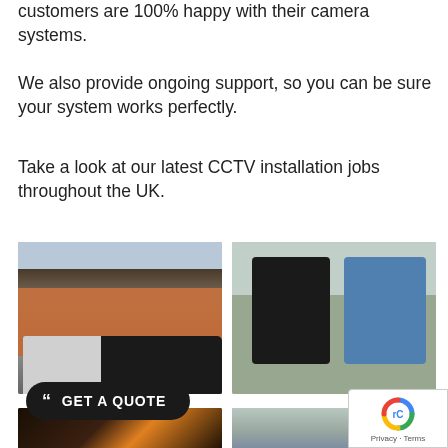customers are 100% happy with their camera systems.
We also provide ongoing support, so you can be sure your system works perfectly.
Take a look at our latest CCTV installation jobs throughout the UK.
[Figure (photo): Photo of a brick residential house with dark roof tiles and a car parked in the driveway]
[Figure (photo): Photo of two men shaking hands outdoors, one in a black polo shirt and one in a grey sweater wearing sunglasses]
[Figure (photo): Photo of a CCTV installation job, partially visible]
[Figure (photo): Photo of a driveway or residential area, partially visible]